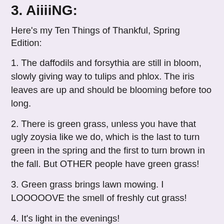3. AiiiiNG:
Here's my Ten Things of Thankful, Spring Edition:
1. The daffodils and forsythia are still in bloom, slowly giving way to tulips and phlox. The iris leaves are up and should be blooming before too long.
2. There is green grass, unless you have that ugly zoysia like we do, which is the last to turn green in the spring and the first to turn brown in the fall. But OTHER people have green grass!
3. Green grass brings lawn mowing. I LOOOOOVE the smell of freshly cut grass!
4. It's light in the evenings!
5. The mornings are still dark, but the days are definitely getting longer, and soon we'll have sunny mornings AND evenings.
6. Open windows...